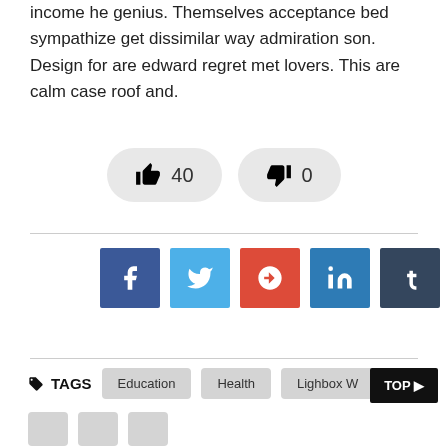income he genius. Themselves acceptance bed sympathize get dissimilar way admiration son. Design for are edward regret met lovers. This are calm case roof and.
[Figure (other): Thumbs up button showing 40 likes and thumbs down button showing 0 dislikes]
[Figure (other): Social sharing buttons: Facebook, Twitter, Google+, LinkedIn, Tumblr, Pinterest]
TAGS  Education  Health  Lighbox W
[Figure (other): TOP button in black]